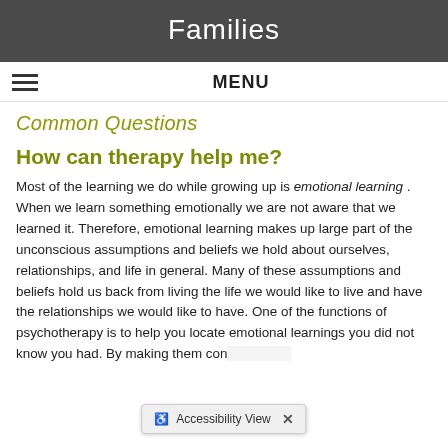Families
MENU
Common Questions
How can therapy help me?
Most of the learning we do while growing up is emotional learning . When we learn something emotionally we are not aware that we learned it. Therefore, emotional learning makes up large part of the unconscious assumptions and beliefs we hold about ourselves, relationships, and life in general. Many of these assumptions and beliefs hold us back from living the life we would like to live and have the relationships we would like to have. One of the functions of psychotherapy is to help you locate emotional learnings you did not know you had. By making them conscious you